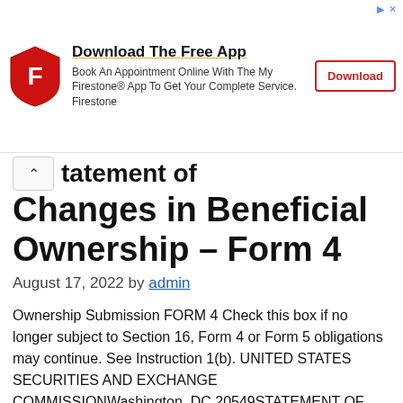[Figure (infographic): Firestone advertisement banner with shield logo, 'Download The Free App' heading, app description text, and a red Download button. Top-right corner has a small ad icon.]
tatement of Changes in Beneficial Ownership – Form 4
August 17, 2022 by admin
Ownership Submission FORM 4 Check this box if no longer subject to Section 16, Form 4 or Form 5 obligations may continue. See Instruction 1(b). UNITED STATES SECURITIES AND EXCHANGE COMMISSIONWashington, DC 20549STATEMENT OF CHANGES IN BENEFICIAL OWNERSHIP OF SECURITIES Filed